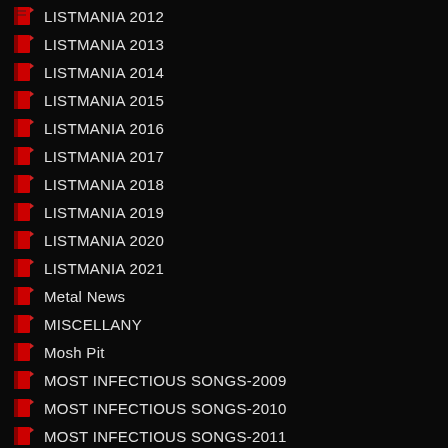LISTMANIA 2012
LISTMANIA 2013
LISTMANIA 2014
LISTMANIA 2015
LISTMANIA 2016
LISTMANIA 2017
LISTMANIA 2018
LISTMANIA 2019
LISTMANIA 2020
LISTMANIA 2021
Metal News
MISCELLANY
Mosh Pit
MOST INFECTIOUS SONGS-2009
MOST INFECTIOUS SONGS-2010
MOST INFECTIOUS SONGS-2011
MOST INFECTIOUS SONGS-2012
MOST INFECTIOUS SONGS-2013
MOST INFECTIOUS SONGS-2014
MOST INFECTIOUS SONGS-2015
MOST INFECTIOUS SONGS-2016